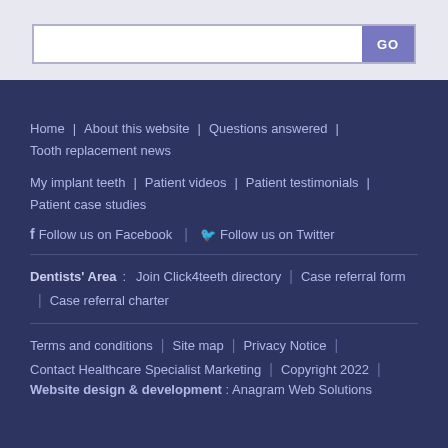Home | About this website | Questions answered | Tooth replacement news
My implant teeth | Patient videos | Patient testimonials | Patient case studies
Follow us on Facebook | Follow us on Twitter
Dentists' Area : Join Click4teeth directory | Case referral form | Case referral charter
Terms and conditions | Site map | Privacy Notice | Contact Healthcare Specialist Marketing | Copyright 2022 | Website design & development : Anagram Web Solutions